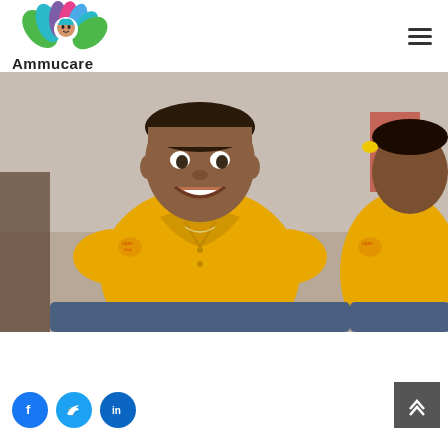[Figure (logo): Ammucare logo: colorful lotus flower with a child face icon, text 'Ammucare' below]
[Figure (photo): Two children wearing yellow polo shirts sitting cross-legged outdoors on the ground, smiling]
[Figure (other): Social media icons: Facebook, Twitter, LinkedIn circles; back-to-top button (dark square with double chevron up)]